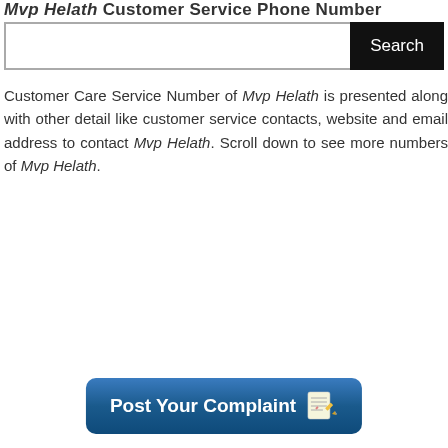Mvp Helath Customer Service Phone Number
[Figure (screenshot): Search bar with text input field and black Search button]
Customer Care Service Number of Mvp Helath is presented along with other detail like customer service contacts, website and email address to contact Mvp Helath. Scroll down to see more numbers of Mvp Helath.
[Figure (illustration): Blue rounded button with text 'Post Your Complaint' and a notepad-with-pencil emoji icon]